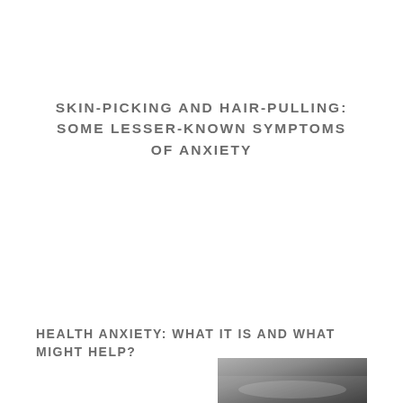SKIN-PICKING AND HAIR-PULLING: SOME LESSER-KNOWN SYMPTOMS OF ANXIETY
HEALTH ANXIETY: WHAT IT IS AND WHAT MIGHT HELP?
[Figure (photo): Partial photo of a person in bed, grayscale, partially visible at bottom of page]